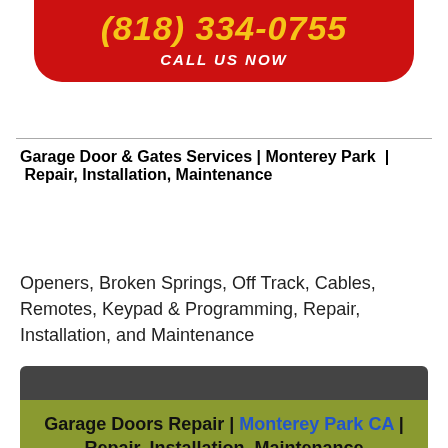[Figure (infographic): Red rounded banner at top with yellow phone number (818) 334-0755 and white CALL US NOW text]
Garage Door & Gates Services | Monterey Park | Repair, Installation, Maintenance
Openers, Broken Springs, Off Track, Cables, Remotes, Keypad & Programming, Repair, Installation, and Maintenance
[Figure (infographic): Dark gray bar on top, olive/green bar with text: Garage Doors Repair | Monterey Park CA | Repair, Installation, Maintenance, then bright green bar with phone icon]